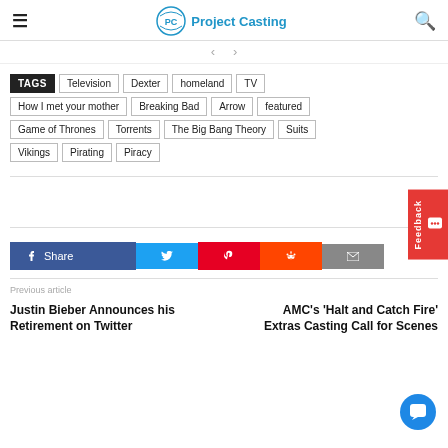Project Casting
Television | Dexter | homeland | TV | How I met your mother | Breaking Bad | Arrow | featured | Game of Thrones | Torrents | The Big Bang Theory | Suits | Vikings | Pirating | Piracy
[Figure (screenshot): Social share buttons: Facebook Share, Twitter, Pinterest, Reddit, Email]
Previous article
Justin Bieber Announces his Retirement on Twitter
AMC's 'Halt and Catch Fire' Extras Casting Call for Scenes